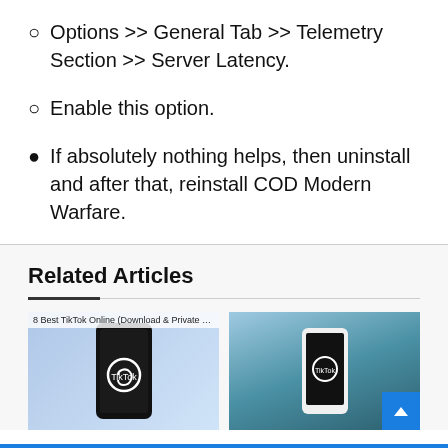○ Options >> General Tab >> Telemetry Section >> Server Latency.
○ Enable this option.
● If absolutely nothing helps, then uninstall and after that, reinstall COD Modern Warfare.
Related Articles
[Figure (photo): Hand holding a smartphone with TikTok app open, background of bokeh blue circles. Caption reads: 8 Best TikTok Online (Download & Private View) ...]
[Figure (photo): Hand holding a white smartphone with TikTok app open, background of mountains and water.]